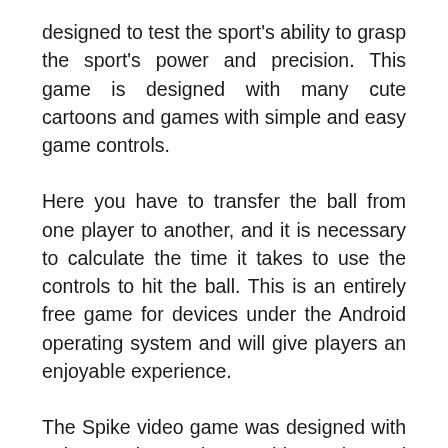designed to test the sport's ability to grasp the sport's power and precision. This game is designed with many cute cartoons and games with simple and easy game controls.
Here you have to transfer the ball from one player to another, and it is necessary to calculate the time it takes to use the controls to hit the ball. This is an entirely free game for devices under the Android operating system and will give players an enjoyable experience.
The Spike video game was designed with unique and attractive graphics and sound effects that make this game more addictive. This game allows players to play as volleyball team members and play matches against another...